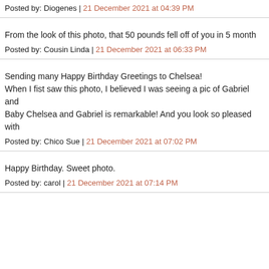Posted by: Diogenes | 21 December 2021 at 04:39 PM
From the look of this photo, that 50 pounds fell off of you in 5 month
Posted by: Cousin Linda | 21 December 2021 at 06:33 PM
Sending many Happy Birthday Greetings to Chelsea!
When I fist saw this photo, I believed I was seeing a pic of Gabriel and
Baby Chelsea and Gabriel is remarkable! And you look so pleased with
Posted by: Chico Sue | 21 December 2021 at 07:02 PM
Happy Birthday. Sweet photo.
Posted by: carol | 21 December 2021 at 07:14 PM